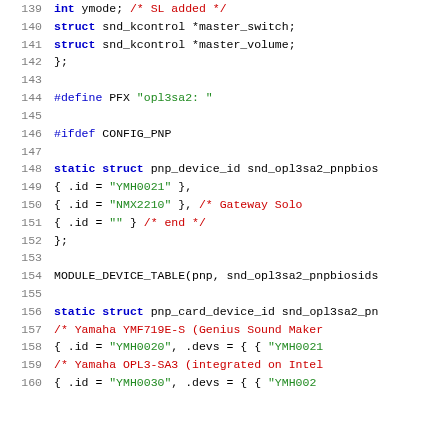[Figure (screenshot): Source code listing (C language) showing lines 139-160 of a Linux kernel driver file for OPL3-SA2 sound card, with syntax highlighting: line numbers in gray, keywords in blue, strings in green, comments in red.]